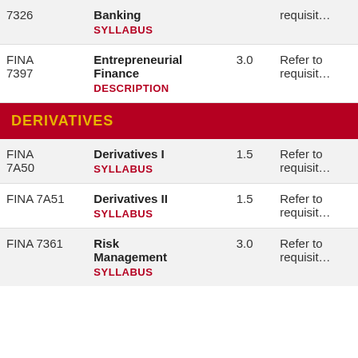| Course Code | Course Name | Credits | Notes |
| --- | --- | --- | --- |
| FINA
7326 | Banking
SYLLABUS |  | requisit… |
| FINA
7397 | Entrepreneurial Finance
DESCRIPTION | 3.0 | Refer to requisit… |
| DERIVATIVES |  |  |  |
| FINA
7A50 | Derivatives I
SYLLABUS | 1.5 | Refer to requisit… |
| FINA 7A51 | Derivatives II
SYLLABUS | 1.5 | Refer to requisit… |
| FINA 7361 | Risk Management
SYLLABUS | 3.0 | Refer to requisit… |